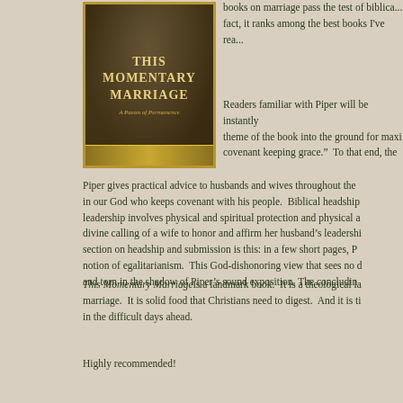[Figure (illustration): Book cover of 'This Momentary Marriage' with dark brown/gold ornate design and gold border]
books on marriage pass the test of biblical... fact, it ranks among the best books I've rea...
Readers familiar with Piper will be instantly... theme of the book into the ground for maxi... covenant keeping grace." To that end, the...
Piper gives practical advice to husbands and wives throughout the... in our God who keeps covenant with his people. Biblical headship... leadership involves physical and spiritual protection and physical a... divine calling of a wife to honor and affirm her husband's leadershi... section on headship and submission is this: in a few short pages, ... notion of egalitarianism. This God-dishonoring view that sees no ... and torn in the shadow of Piper's sound exposition. The concludin...
This Momentary Marriage is a landmark book. It is a theological la... marriage. It is solid food that Christians need to digest. And it is ti... in the difficult days ahead.
Highly recommended!